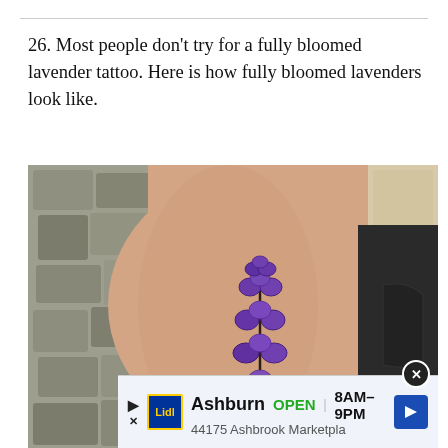26. Most people don't try for a fully bloomed lavender tattoo. Here is how fully bloomed lavenders look like.
[Figure (photo): A photograph of a person's forearm with a lavender tattoo showing fully bloomed lavender flowers in purple, set against a background of stone wall and dark jeans. An advertisement banner for Lidl appears at the bottom: 'Ashburn OPEN 8AM-9PM, 44175 Ashbrook Marketpla...']